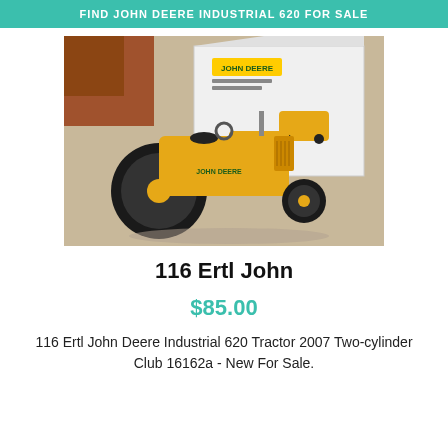FIND JOHN DEERE INDUSTRIAL 620 FOR SALE
[Figure (photo): Photo of a yellow John Deere Industrial 620 die-cast toy tractor (Ertl model) displayed in front of its original white box. The tractor is yellow with black tires. The box shows a John Deere logo and an image of the tractor. Background is a beige carpet and wooden furniture.]
116 Ertl John
$85.00
116 Ertl John Deere Industrial 620 Tractor 2007 Two-cylinder Club 16162a - New For Sale.